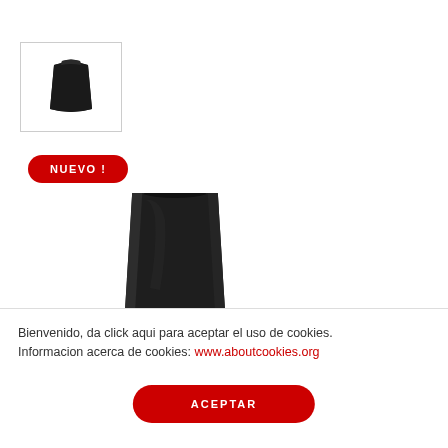[Figure (photo): Small thumbnail image of a dark/black leather phone case or pouch, shown from a top-down angle inside a bordered box]
NUEVO !
[Figure (photo): Larger product image of a dark/black leather phone case or pouch, shown upright, partially cropped at the bottom]
Bienvenido, da click aqui para aceptar el uso de cookies. Informacion acerca de cookies: www.aboutcookies.org
ACEPTAR